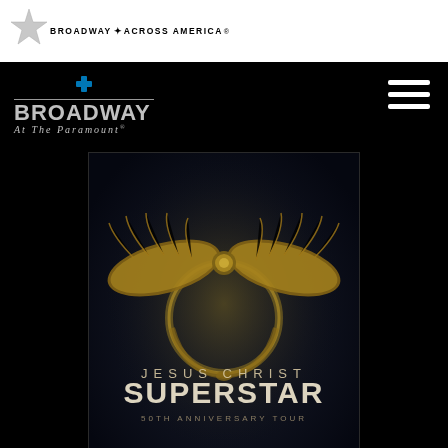[Figure (logo): Broadway Across America logo with star icon and text]
[Figure (logo): Premera Blue Cross Broadway at the Paramount logo]
[Figure (illustration): Hamburger menu icon (three horizontal white lines)]
[Figure (photo): Jesus Christ Superstar 50th Anniversary Tour promotional poster with golden angel wings on dark background, text reading JESUS CHRIST SUPERSTAR 50th ANNIVERSARY TOUR]